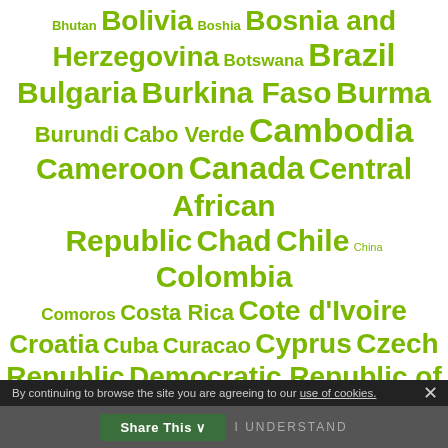Bhutan Bolivia Boshia Bosnia and Herzegovina Botswana Brazil Bulgaria Burkina Faso Burma Burundi Cabo Verde Cambodia Cameroon Canada Central African Republic Chad Chile China Colombia Comoros Costa Rica Cote d'Ivoire Croatia Cuba Curacao Cyprus Czech Republic Democratic Republic of the Congo Denmark Djibouti Dominica Dominican Republic DRC Ecuador Egypt El Salvador Equatorial Guinea Eritrea Estonia Eswatini Ethiopia Fiji Finland France
By continuing to browse the site you are agreeing to our use of cookies.
Share This